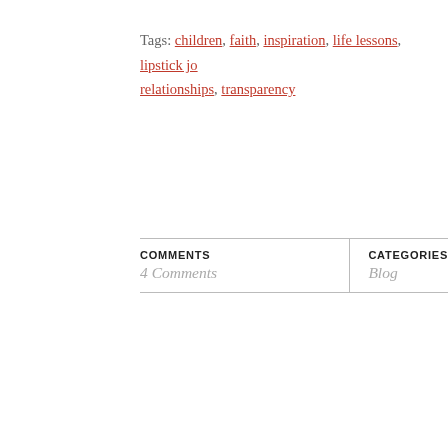Tags: children, faith, inspiration, life lessons, lipstick jo... relationships, transparency
| COMMENTS | CATEGORIES |
| --- | --- |
| 4 Comments | Blog |
[Figure (other): Rose/mauve colored horizontal band divider]
[Figure (other): Red-coral circle date badge showing '6 SEP']
Weary